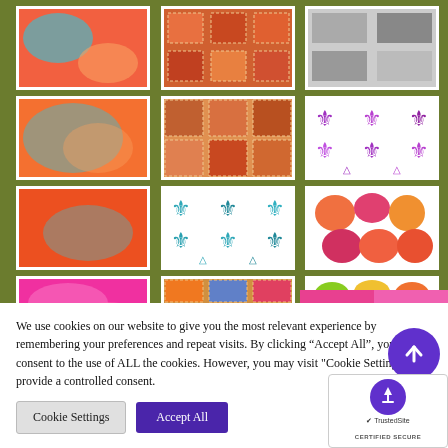[Figure (photo): Gallery of colorful art prints on olive green background, shown in a 3x4 grid. Row 1: abstract orange/teal texture, orange stamp grid, grey pattern. Row 2: orange/teal abstract, orange stamp tiles, white with purple fleur-de-lis. Row 3: orange abstract brushstroke, white with teal fleur-de-lis, white with colorful flower blobs. Row 4 (partial): hot pink texture, colorful flower tile stamps, green/orange flower blobs.]
[Figure (infographic): Color palette swatches panel on right side showing pink, crimson, blue, indigo, and cyan color blocks]
We use cookies on our website to give you the most relevant experience by remembering your preferences and repeat visits. By clicking “Accept All”, you consent to the use of ALL the cookies. However, you may visit "Cookie Settings" to provide a controlled consent.
Cookie Settings
Accept All
[Figure (logo): TrustedSite Certified Secure badge with purple circle containing white up arrow and checkmark shield icon]